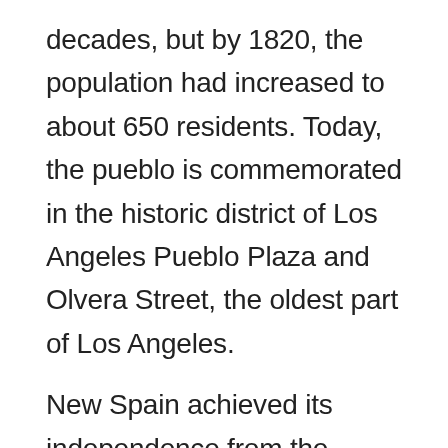decades, but by 1820, the population had increased to about 650 residents. Today, the pueblo is commemorated in the historic district of Los Angeles Pueblo Plaza and Olvera Street, the oldest part of Los Angeles.
New Spain achieved its independence from the Spanish Empire in 1821, and the pueblo now existed within the new Mexican Republic. During Mexican rule, Governor Pío Pico made Los Angeles, Alta California's regional capital. By this time, the new republic introduced more secularization acts within the Los Angeles region. In 1846, during the wider Mexican-American war, marines from the United States occupied the pueblo. This resulted in the Siege